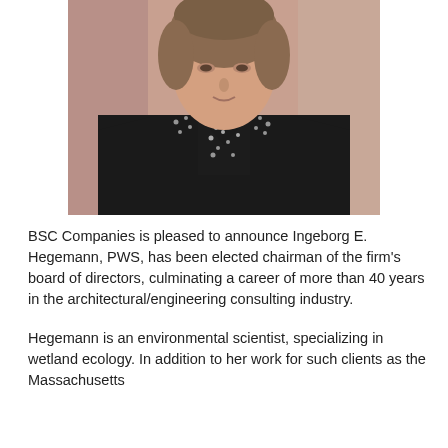[Figure (photo): Professional headshot portrait of Ingeborg E. Hegemann, a woman wearing a black blazer over a black-and-white polka dot blouse, photographed against a neutral background.]
BSC Companies is pleased to announce Ingeborg E. Hegemann, PWS, has been elected chairman of the firm's board of directors, culminating a career of more than 40 years in the architectural/engineering consulting industry.
Hegemann is an environmental scientist, specializing in wetland ecology. In addition to her work for such clients as the Massachusetts